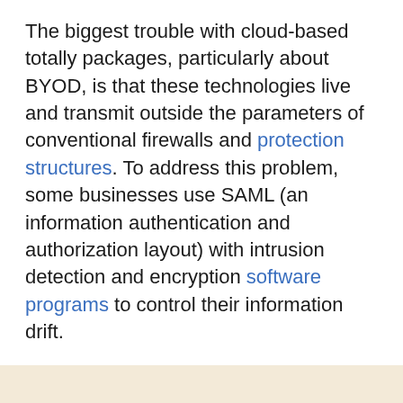The biggest trouble with cloud-based totally packages, particularly about BYOD, is that these technologies live and transmit outside the parameters of conventional firewalls and protection structures. To address this problem, some businesses use SAML (an information authentication and authorization layout) with intrusion detection and encryption software programs to control their information drift.